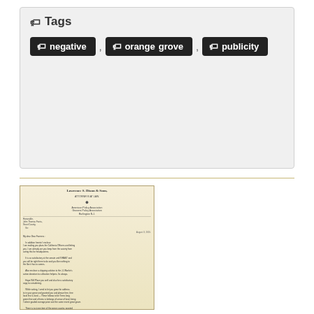Tags
negative
orange grove
publicity
[Figure (photo): Scanned historical letter on aged paper with letterhead reading 'Lawrence S. Dixon & Sons' and body text describing orange grove business correspondence.]